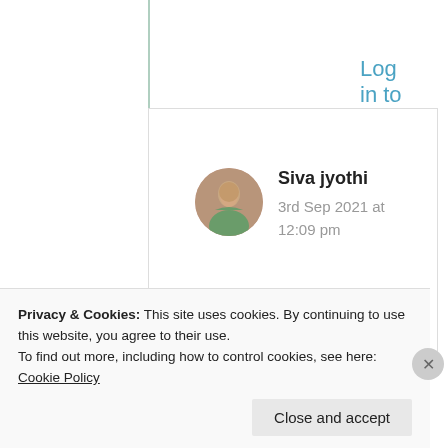Log in to Reply
Siva jyothi
3rd Sep 2021 at 12:09 pm
My pleasure 😍
★ Like
Privacy & Cookies: This site uses cookies. By continuing to use this website, you agree to their use.
To find out more, including how to control cookies, see here: Cookie Policy
Close and accept